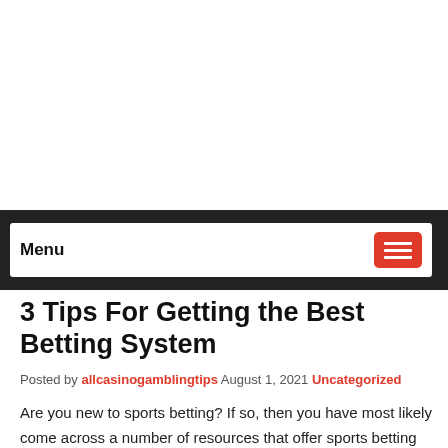#6 (no title)
Menu
3 Tips For Getting the Best Betting System
Posted by allcasinogamblingtips August 1, 2021 Uncategorized
Are you new to sports betting? If so, then you have most likely come across a number of resources that offer sports betting tips. For those who are just new to the world of sports betting, it can be quite confusing as to where to start. There are several tips that are meant for newcomers and even some experts. But if you follow these tips, the right bets for newcomer bettors are: